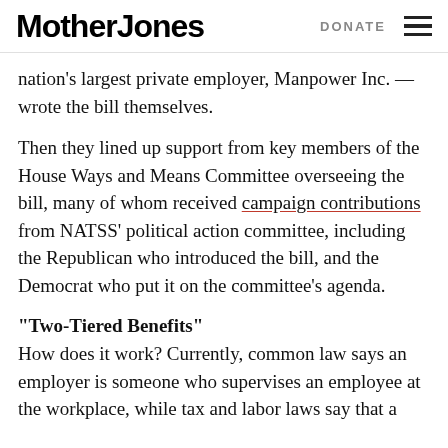Mother Jones | DONATE
nation's largest private employer, Manpower Inc. — wrote the bill themselves.
Then they lined up support from key members of the House Ways and Means Committee overseeing the bill, many of whom received campaign contributions from NATSS' political action committee, including the Republican who introduced the bill, and the Democrat who put it on the committee's agenda.
“Two-Tiered Benefits”
How does it work? Currently, common law says an employer is someone who supervises an employee at the workplace, while tax and labor laws say that a